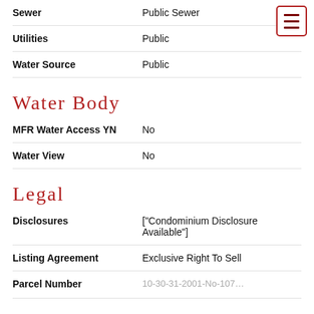| Field | Value |
| --- | --- |
| Sewer | Public Sewer |
| Utilities | Public |
| Water Source | Public |
Water Body
| Field | Value |
| --- | --- |
| MFR Water Access YN | No |
| Water View | No |
Legal
| Field | Value |
| --- | --- |
| Disclosures | ["Condominium Disclosure Available"] |
| Listing Agreement | Exclusive Right To Sell |